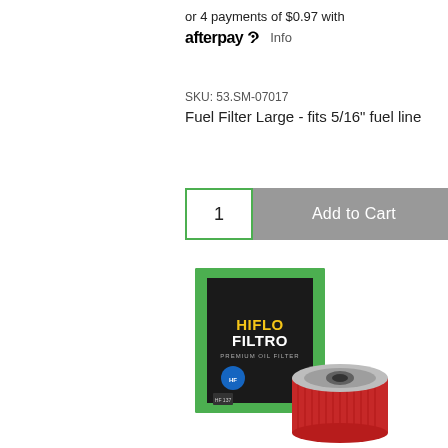or 4 payments of $0.97 with afterpay Info
SKU: 53.SM-07017
Fuel Filter Large - fits 5/16" fuel line
1   Add to Cart
[Figure (photo): HifloFiltro oil filter product photo showing a dark green product box with green stripe border labeled 'HIFLOFILTRO PREMIUM OIL FILTER' and a red cylindrical oil filter element with silver top cap placed in front of the box.]